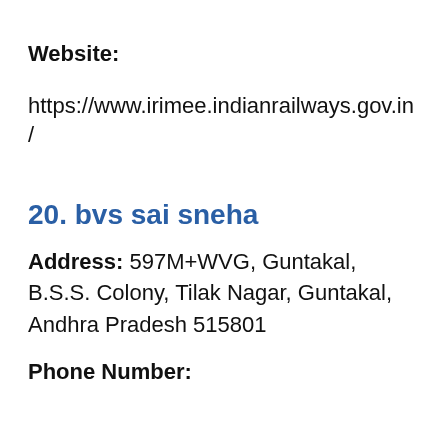Website: https://www.irimee.indianrailways.gov.in/
20. bvs sai sneha
Address: 597M+WVG, Guntakal, B.S.S. Colony, Tilak Nagar, Guntakal, Andhra Pradesh 515801
Phone Number: